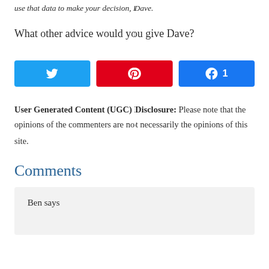use that data to make your decision, Dave.
What other advice would you give Dave?
[Figure (other): Three social sharing buttons: Twitter (blue), Pinterest (red), Facebook (blue with count 1)]
User Generated Content (UGC) Disclosure: Please note that the opinions of the commenters are not necessarily the opinions of this site.
Comments
Ben says